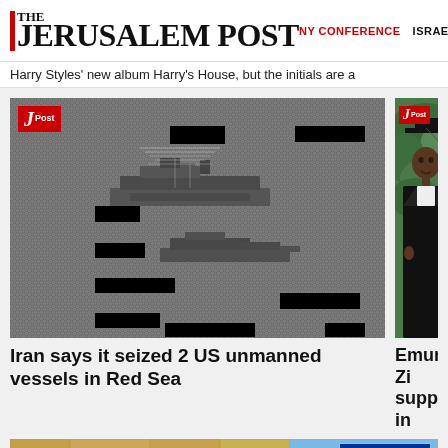THE JERUSALEM POST | NY CONFERENCE | ISRAEL
Harry Styles' new album Harry's House, but the initials are a
[Figure (photo): Aerial grayscale/night-vision image of ships at sea, with black redaction boxes covering identifying information. JPost logo badge in upper left.]
Iran says it seized 2 US unmanned vessels in Red Sea
[Figure (photo): Young Black woman in graduation cap and gown smiling outdoors. JPost logo badge in upper left.]
Emunah: Zi support in
[Figure (photo): Partial image showing Israeli flag with Star of David and stone wall background.]